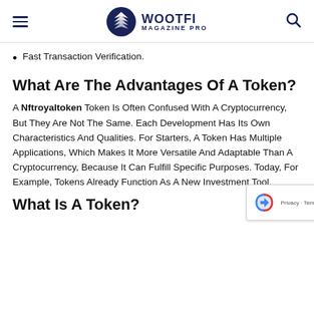WOOTFI MAGAZINE PRO
Fast Transaction Verification.
What Are The Advantages Of A Token?
A Nftroyaltoken Token Is Often Confused With A Cryptocurrency, But They Are Not The Same. Each Development Has Its Own Characteristics And Qualities. For Starters, A Token Has Multiple Applications, Which Makes It More Versatile And Adaptable Than A Cryptocurrency, Because It Can Fulfill Specific Purposes. Today, For Example, Tokens Already Function As A New Investment Tool.
What Is A Token?